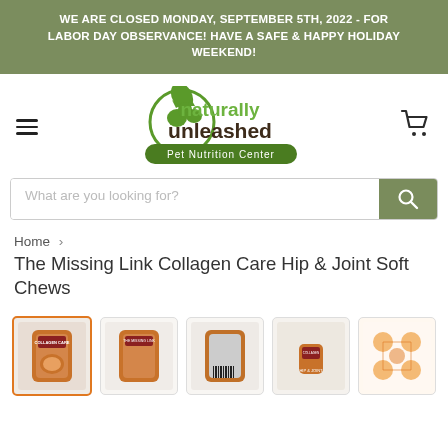WE ARE CLOSED MONDAY, SEPTEMBER 5TH, 2022 - FOR LABOR DAY OBSERVANCE! HAVE A SAFE & HAPPY HOLIDAY WEEKEND!
[Figure (logo): Naturally Unleashed Pet Nutrition Center logo with dog and cat silhouette in green circle]
[Figure (other): Search bar with text 'What are you looking for?' and green search button]
Home › The Missing Link Collagen Care Hip & Joint Soft Chews
The Missing Link Collagen Care Hip & Joint Soft Chews
[Figure (photo): Five product thumbnail images of The Missing Link Collagen Care Hip & Joint Soft Chews, first image selected with orange border]